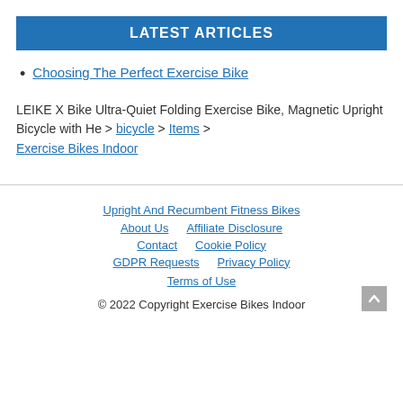LATEST ARTICLES
Choosing The Perfect Exercise Bike
LEIKE X Bike Ultra-Quiet Folding Exercise Bike, Magnetic Upright Bicycle with He > bicycle > Items > Exercise Bikes Indoor
Upright And Recumbent Fitness Bikes | About Us | Affiliate Disclosure | Contact | Cookie Policy | GDPR Requests | Privacy Policy | Terms of Use | © 2022 Copyright Exercise Bikes Indoor